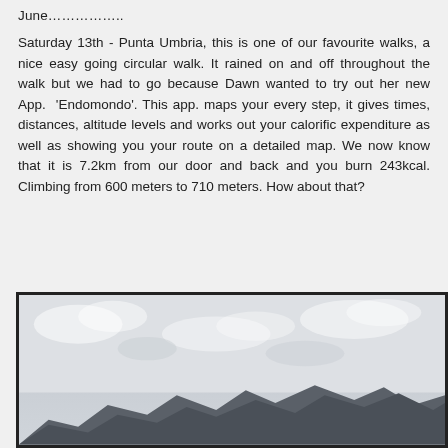June...............
Saturday 13th - Punta Umbria, this is one of our favourite walks, a nice easy going circular walk. It rained on and off throughout the walk but we had to go because Dawn wanted to try out her new App.  'Endomondo'. This app. maps your every step, it gives times, distances, altitude levels and works out your calorific expenditure as well as showing you your route on a detailed map. We now know that it is 7.2km from our door and back and you burn 243kcal. Climbing from 600 meters to 710 meters. How about that?
[Figure (photo): Landscape photo showing mountain silhouette with cloudy sky in the background]